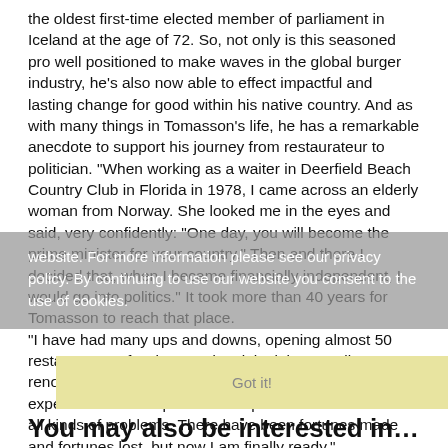the oldest first-time elected member of parliament in Iceland at the age of 72. So, not only is this seasoned pro well positioned to make waves in the global burger industry, he's also now able to effect impactful and lasting change for good within his native country. And as with many things in Tomasson's life, he has a remarkable anecdote to support his journey from restaurateur to politician. "When working as a waiter in Deerfield Beach Country Club in Florida in 1978, I came across an elderly woman from Norway. She looked me in the eyes and said, very confidently: "One day, you will become the prime minister for your country." Then and there I decided that, when I became financially independent, I would go into politics." It took more than 40 years for Tomasson to reach that place. "I have had many ups and downs, opening almost 50 restaurants, a few bars and a nightclub, as well as renovating the Hotel Borg," he says. "I feel that my past experiences will help me a lot in parliament. I have faced all kinds of problems. There have been fortunes made and fortunes lost, but now I am finally ready."
website. For more information please see our privacy policy. By continuing to use our website you consent to the use of cookies.
Got it!
You may also be interested in…